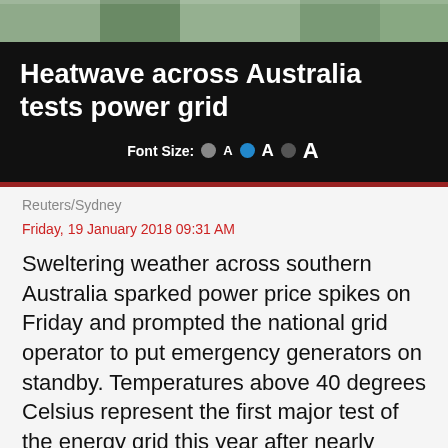[Figure (photo): Top strip of a photo showing colorful outdoor scene]
Heatwave across Australia tests power grid
Font Size: A A A
Reuters/Sydney
Friday, 19 January 2018 09:31 AM
Sweltering weather across southern Australia sparked power price spikes on Friday and prompted the national grid operator to put emergency generators on standby. Temperatures above 40 degrees Celsius represent the first major test of the energy grid this year after nearly 2,000 megawatts of extra